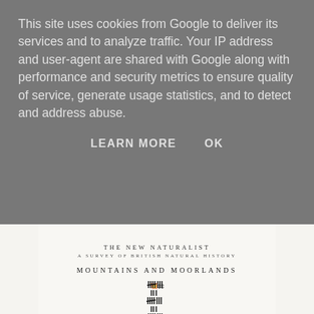This site uses cookies from Google to deliver its services and to analyze traffic. Your IP address and user-agent are shared with Google along with performance and security metrics to ensure quality of service, generate usage statistics, and to detect and address abuse.
LEARN MORE   OK
THE NEW NATURALIST
A SURVEY OF BRITISH NATURAL HISTORY
MOUNTAINS AND MOORLANDS
[Figure (illustration): Decorative tally mark / typographic ornament symbols repeated in rows, representing a book spine or chapter decorations from a vintage naturalist book]